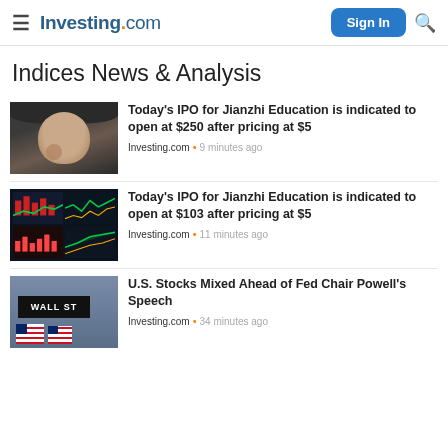Investing.com — Sign In
Indices News & Analysis
[Figure (photo): Man with worried expression, hand near face, dark background]
Today's IPO for Jianzhi Education is indicated to open at $250 after pricing at $5
Investing.com · 9 minutes ago
[Figure (photo): Multiple trading screens showing stock market charts with red and green candles]
Today's IPO for Jianzhi Education is indicated to open at $103 after pricing at $5
Investing.com · 11 minutes ago
[Figure (photo): Wall Street sign with American flags in the background]
U.S. Stocks Mixed Ahead of Fed Chair Powell's Speech
Investing.com · 34 minutes ago